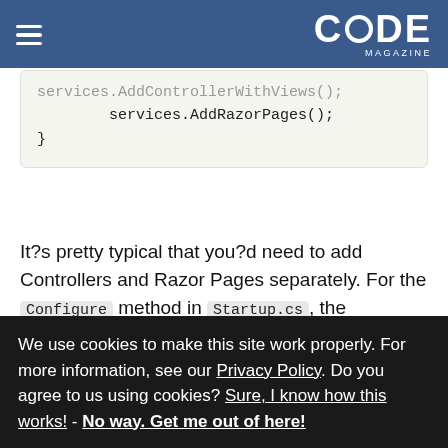CODE MAGAZINE
[Figure (screenshot): Code block showing services.AddControllerWithViews(); services.AddRazorPages(); }]
It?s pretty typical that you?d need to add Controllers and Razor Pages separately. For the Configure method in Startup.cs, the separation exists there too. You?ll want to add it to your UseEndpoints:
[Figure (screenshot): Code block showing app.UseEndpoints(endpoints =>]
We use cookies to make this site work properly. For more information, see our Privacy Policy. Do you agree to us using cookies? Sure, I know how this works! - No way. Get me out of here!